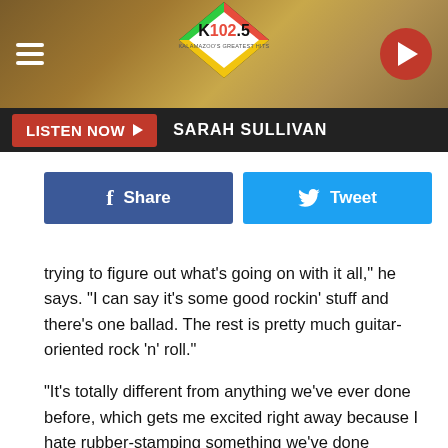[Figure (logo): K102.5 Kalamazoo's Greatest Hits radio station logo — diamond shape with green, red, and yellow coloring]
LISTEN NOW ▶  SARAH SULLIVAN
Share   Tweet
trying to figure out what's going on with it all," he says. "I can say it's some good rockin' stuff and there's one ballad. The rest is pretty much guitar-oriented rock 'n' roll."
"It's totally different from anything we've ever done before, which gets me excited right away because I hate rubber-stamping something we've done already," bandmate Tom Johnston elaborated in an interview earlier this year. "These songs are in totally different directions, things I've never tried before vocally, musically. Everything is kind of different from what you expect to hear from normal Doobies, but it's still